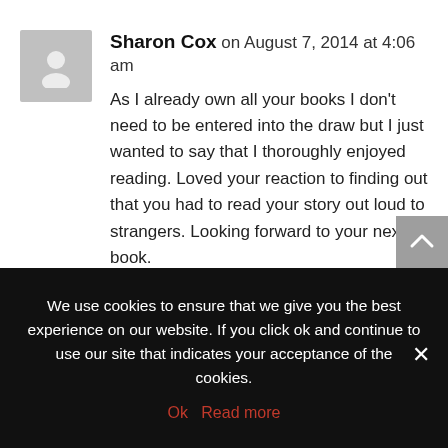Sharon Cox on August 7, 2014 at 4:06 am
As I already own all your books I don't need to be entered into the draw but I just wanted to say that I thoroughly enjoyed reading. Loved your reaction to finding out that you had to read your story out loud to strangers. Looking forward to your next book.
Loading...
REPLY
Bill on August 7, 2014 at 9:48 am
We use cookies to ensure that we give you the best experience on our website. If you click ok and continue to use our site that indicates your acceptance of the cookies.
Ok   Read more